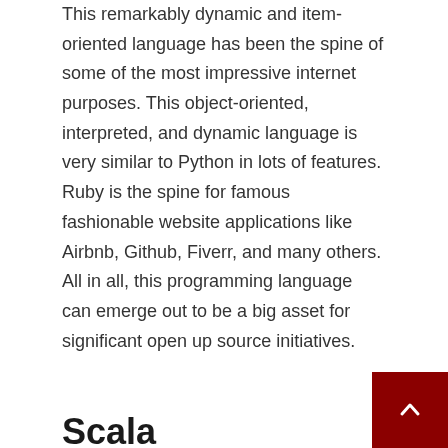This remarkably dynamic and item-oriented language has been the spine of some of the most impressive internet purposes. This object-oriented, interpreted, and dynamic language is very similar to Python in lots of features. Ruby is the spine for famous fashionable website applications like Airbnb, Github, Fiverr, and many others. All in all, this programming language can emerge out to be a big asset for significant open up source initiatives.
Scala
Scalable language (Scala) features of each functional and objective programming. This characteristic, it minimizes procedure bugs in the course of process layouts and enhancement. This large-stage, multi-paradigm programming language supports the functional programming approach.